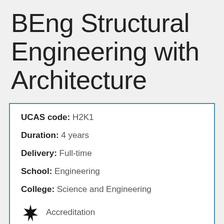BEng Structural Engineering with Architecture
| UCAS code: | H2K1 |
| Duration: | 4 years |
| Delivery: | Full-time |
| School: | Engineering |
| College: | Science and Engineering |
Accreditation
Study abroad
Placements